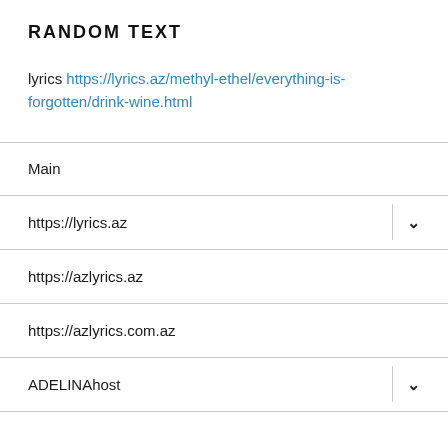RANDOM TEXT
lyrics https://lyrics.az/methyl-ethel/everything-is-forgotten/drink-wine.html
Main
https://lyrics.az
https://azlyrics.az
https://azlyrics.com.az
ADELINAhost